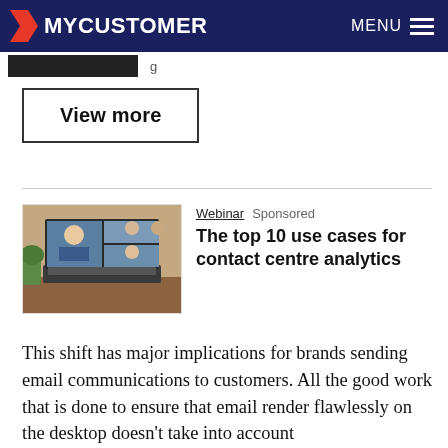MYCUSTOMER  MENU
View more
The top 10 use cases for contact centre analytics
Webinar  Sponsored
[Figure (photo): Laptop showing a video call with multiple participants on screen, placed on a wooden desk]
This shift has major implications for brands sending email communications to customers. All the good work that is done to ensure that email render flawlessly on the desktop doesn’t take into account